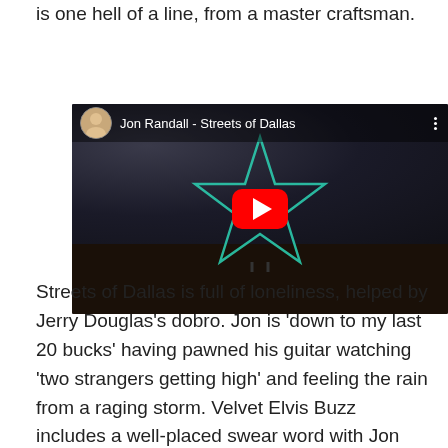is one hell of a line, from a master craftsman.
[Figure (screenshot): YouTube video thumbnail for 'Jon Randall - Streets of Dallas' showing a dark atmospheric scene with a neon star sign and a YouTube play button overlay. The video has a top bar with the channel avatar and title.]
Streets of Dallas is full of loneliness, helped by Jerry Douglas's dobro. Jon is ‘down to my last 20 bucks’ having pawned his guitar watching ‘two strangers getting high’ and feeling the rain from a raging storm. Velvet Elvis Buzz includes a well-placed swear word with Jon seemingly